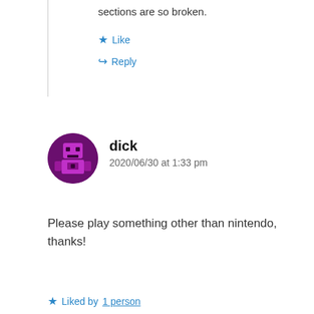sections are so broken.
★ Like
↪ Reply
[Figure (illustration): Purple avatar with pixel-art robot/character icon]
dick
2020/06/30 at 1:33 pm
Please play something other than nintendo, thanks!
★ Liked by 1 person
↪ Reply